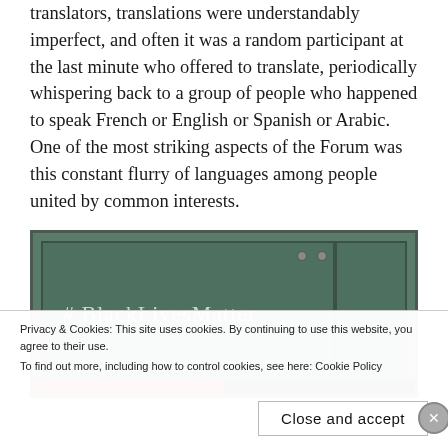translators, translations were understandably imperfect, and often it was a random participant at the last minute who offered to translate, periodically whispering back to a group of people who happened to speak French or English or Spanish or Arabic. One of the most striking aspects of the Forum was this constant flurry of languages among people united by common interests.
[Figure (photo): A photograph of a green chalkboard with '#BlackLivesMatter' written in chalk. The chalkboard has two panels with visible screws at the top.]
Privacy & Cookies: This site uses cookies. By continuing to use this website, you agree to their use.
To find out more, including how to control cookies, see here: Cookie Policy
Close and accept